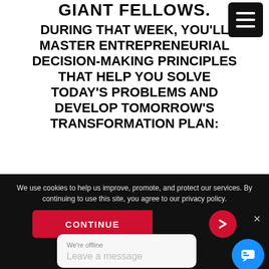GIANT FELLOWS.
DURING THAT WEEK, YOU'LL MASTER ENTREPRENEURIAL DECISION-MAKING PRINCIPLES THAT HELP YOU SOLVE TODAY'S PROBLEMS AND DEVELOP TOMORROW'S TRANSFORMATION PLAN:
We use cookies to help us improve, promote, and protect our services. By continuing to use this site, you agree to our privacy policy.
CONTINUE
We're offline
Leave a message